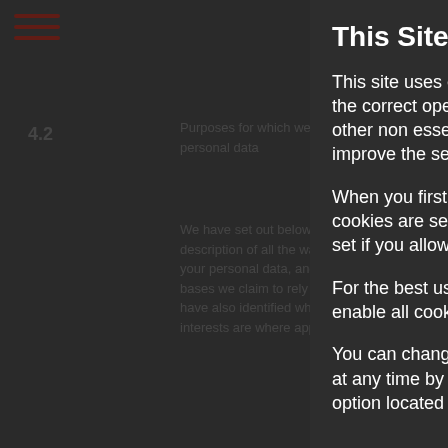4.2 Purposes for which we will use your personal data
We have set out below, in a table format, a description of all the ways we plan to use your personal data, and which of the legal bases we claim to rely on to do so. We have also identified what our legitimate interests are where appropriate.
Note that we may process your personal data for more than one lawful ground depending on the specific purpose for which we are using your data. Please contact us at info@sullenclothing.com if you need details about the specific legal ground we are relying on to process your personal data where more than one ground has been set out in the table below.
Activity / Purpose
This Site Uses Cookies
This site uses essential cookies which are vital to the correct operation of this website, we may use other non essential cookies which allow us to improve the service we provide to you.
When you first visit this site ony the essential cookies are set, non essential cookies will only be set if you allow them in the settings below.
For the best user experience we recommend you enable all cookies.
You can change your cookie consent preferences at any time by using the 'Cookie Settings' menu option located at